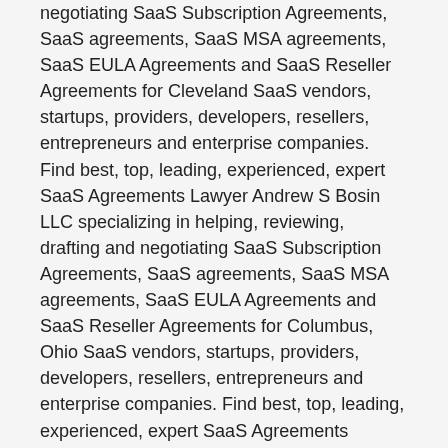negotiating SaaS Subscription Agreements, SaaS agreements, SaaS MSA agreements, SaaS EULA Agreements and SaaS Reseller Agreements for Cleveland SaaS vendors, startups, providers, developers, resellers, entrepreneurs and enterprise companies. Find best, top, leading, experienced, expert SaaS Agreements Lawyer Andrew S Bosin LLC specializing in helping, reviewing, drafting and negotiating SaaS Subscription Agreements, SaaS agreements, SaaS MSA agreements, SaaS EULA Agreements and SaaS Reseller Agreements for Columbus, Ohio SaaS vendors, startups, providers, developers, resellers, entrepreneurs and enterprise companies. Find best, top, leading, experienced, expert SaaS Agreements Lawyer Andrew S Bosin LLC specializing in helping, reviewing, drafting and negotiating SaaS Subscription Agreements, SaaS agreements, SaaS MSA agreements, SaaS EULA Agreements and SaaS Reseller Agreements for Chicago SaaS vendors, startups, providers, developers, resellers, entrepreneurs and enterprise